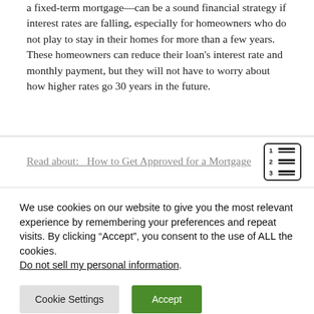a fixed-term mortgage—can be a sound financial strategy if interest rates are falling, especially for homeowners who do not play to stay in their homes for more than a few years. These homeowners can reduce their loan's interest rate and monthly payment, but they will not have to worry about how higher rates go 30 years in the future.
Read about:   How to Get Approved for a Mortgage
We use cookies on our website to give you the most relevant experience by remembering your preferences and repeat visits. By clicking “Accept”, you consent to the use of ALL the cookies. Do not sell my personal information.
Cookie Settings
Accept